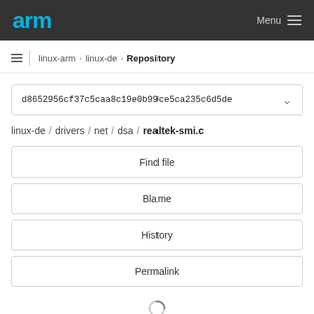arm Menu
linux-arm › linux-de › Repository
d8652956cf37c5caa8c19e0b99ce5ca235c6d5de
linux-de / drivers / net / dsa / realtek-smi.c
Find file
Blame
History
Permalink